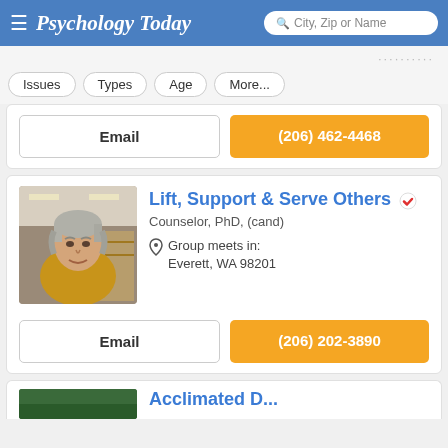Psychology Today — City, Zip or Name search bar
Issues  Types  Age  More...
Email  (206) 462-4468
Lift, Support & Serve Others
Counselor, PhD, (cand)
Group meets in: Everett, WA 98201
Email  (206) 202-3890